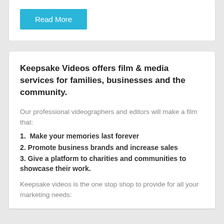Read More
Keepsake Videos offers film & media services for families, businesses and the community.
Our professional videographers and editors will make a film that:
1.  Make your memories last forever
2. Promote business brands and increase sales
3. Give a platform to charities and communities to showcase their work.
Keepsake videos is the one stop shop to provide for all your marketing needs: